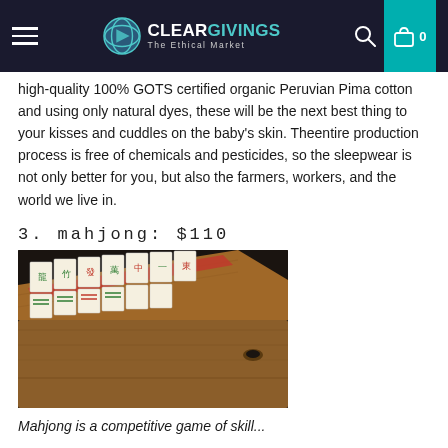ClearGivings – The Ethical Market
high-quality 100% GOTS certified organic Peruvian Pima cotton and using only natural dyes, these will be the next best thing to your kisses and cuddles on the baby's skin. Theentire production process is free of chemicals and pesticides, so the sleepwear is not only better for you, but also the farmers, workers, and the world we live in.
3. mahjong: $110
[Figure (photo): Photograph of a wooden mahjong tile box with tiles visible inside, shot from an angle on a dark background.]
Mahjong is a competitive game of skill...